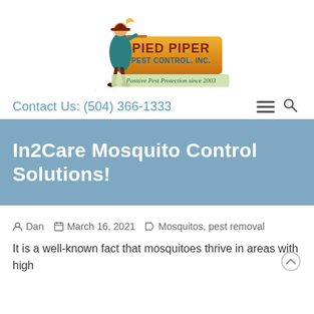[Figure (logo): Pied Piper Pest Control, Inc. logo with illustrated piper character. Text reads 'Pied Piper Pest Control, Inc.' and tagline 'Positive Pest Protection since 2003']
Contact Us: (504) 366-1333
In2Care Mosquito Control Solutions!
Dan   March 16, 2021   Mosquitos, pest removal
It is a well-known fact that mosquitoes thrive in areas with high